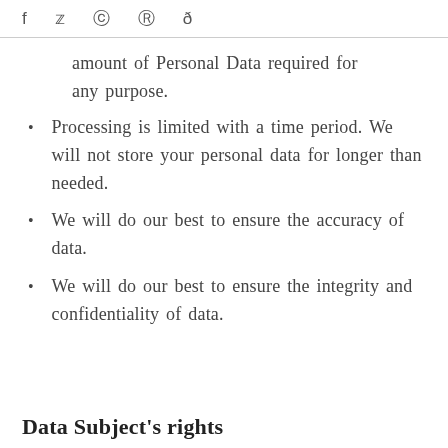f  🐦  📷  ⊕  🔴
amount of Personal Data required for any purpose.
Processing is limited with a time period. We will not store your personal data for longer than needed.
We will do our best to ensure the accuracy of data.
We will do our best to ensure the integrity and confidentiality of data.
Data Subject's rights